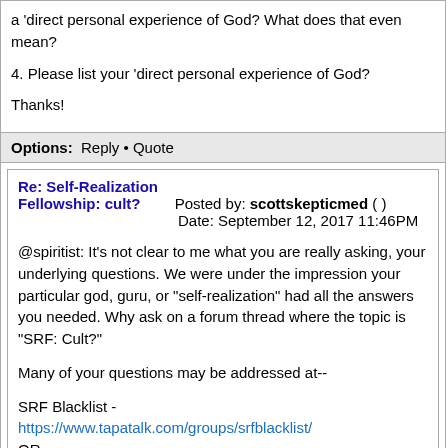a 'direct personal experience of God? What does that even mean?
4. Please list your 'direct personal experience of God?
Thanks!
Options:  Reply • Quote
Re: Self-Realization Fellowship: cult?   Posted by: scottskepticmed ( )   Date: September 12, 2017 11:46PM
@spiritist: It's not clear to me what you are really asking, your underlying questions. We were under the impression your particular god, guru, or "self-realization" had all the answers you needed. Why ask on a forum thread where the topic is "SRF: Cult?"
Many of your questions may be addressed at--
SRF Blacklist -
https://www.tapatalk.com/groups/srfblacklist/
OR
Freedom of Mind: SRF
http://old.freedomofmind.com/Info/infoDet.php?id=552